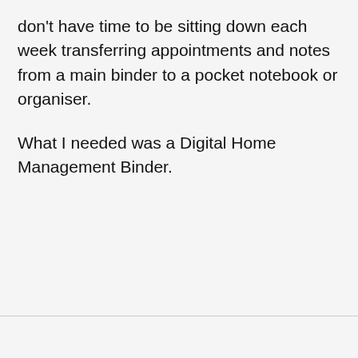don't have time to be sitting down each week transferring appointments and notes from a main binder to a pocket notebook or organiser.
What I needed was a Digital Home Management Binder.